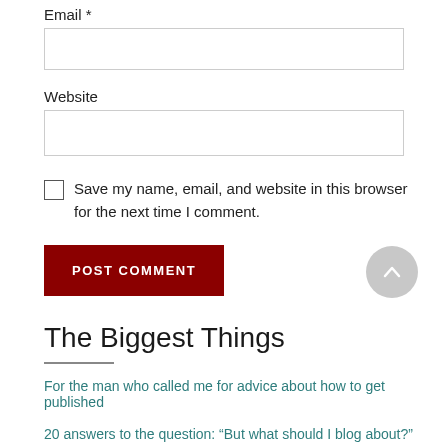Email *
[Figure (screenshot): Empty text input field for Email]
Website
[Figure (screenshot): Empty text input field for Website]
Save my name, email, and website in this browser for the next time I comment.
[Figure (screenshot): POST COMMENT button in dark red]
[Figure (screenshot): Scroll-to-top circular button with upward arrow]
The Biggest Things
For the man who called me for advice about how to get published
20 answers to the question: “But what should I blog about?”
Last Lecture: "Am I a writer?"